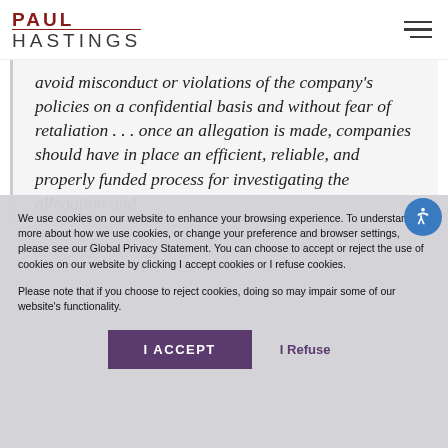PAUL HASTINGS
company's policies on a confidential basis and without fear of retaliation . . . once an allegation is made, companies should have in place an efficient, reliable, and properly funded process for investigating the allegation and
We use cookies on our website to enhance your browsing experience. To understand more about how we use cookies, or change your preference and browser settings, please see our Global Privacy Statement. You can choose to accept or reject the use of cookies on our website by clicking I accept cookies or I refuse cookies.

Please note that if you choose to reject cookies, doing so may impair some of our website's functionality.